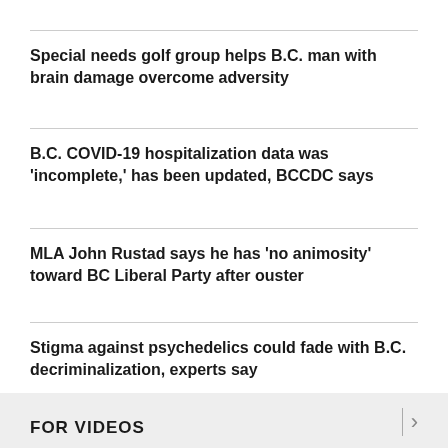Special needs golf group helps B.C. man with brain damage overcome adversity
B.C. COVID-19 hospitalization data was 'incomplete,' has been updated, BCCDC says
MLA John Rustad says he has 'no animosity' toward BC Liberal Party after ouster
Stigma against psychedelics could fade with B.C. decriminalization, experts say
FOR VIDEOS